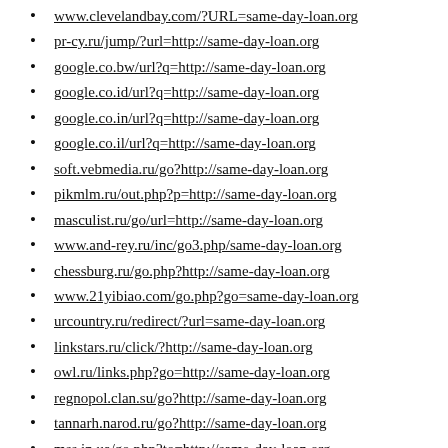www.clevelandbay.com/?URL=same-day-loan.org
pr-cy.ru/jump/?url=http://same-day-loan.org
google.co.bw/url?q=http://same-day-loan.org
google.co.id/url?q=http://same-day-loan.org
google.co.in/url?q=http://same-day-loan.org
google.co.il/url?q=http://same-day-loan.org
soft.vebmedia.ru/go?http://same-day-loan.org
pikmlm.ru/out.php?p=http://same-day-loan.org
masculist.ru/go/url=http://same-day-loan.org
www.and-rey.ru/inc/go3.php/same-day-loan.org
chessburg.ru/go.php?http://same-day-loan.org
www.21yibiao.com/go.php?go=same-day-loan.org
urcountry.ru/redirect/?url=same-day-loan.org
linkstars.ru/click/?http://same-day-loan.org
owl.ru/links.php?go=http://same-day-loan.org
regnopol.clan.su/go?http://same-day-loan.org
tannarh.narod.ru/go?http://same-day-loan.org
mss.in.ua/go.php?to=http://same-day-loan.org
old.x-30.ru/url.php?http://same-day-loan.org